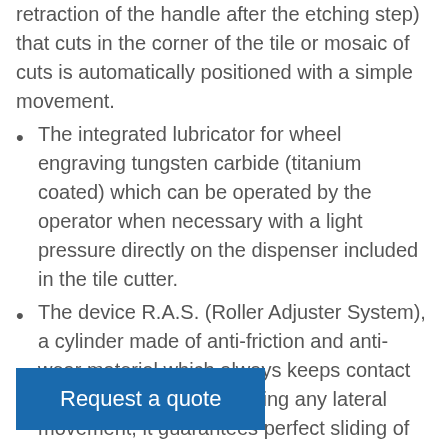retraction of the handle after the etching step) that cuts in the corner of the tile or mosaic of cuts is automatically positioned with a simple movement.
The integrated lubricator for wheel engraving tungsten carbide (titanium coated) which can be operated by the operator when necessary with a light pressure directly on the dispenser included in the tile cutter.
The device R.A.S. (Roller Adjuster System), a cylinder made of anti-friction and anti-wear material which always keeps contact with the bar / cross nullifying any lateral movement, it guarantees perfect sliding of the tool holder and then super-precise engravings.
Request a quote